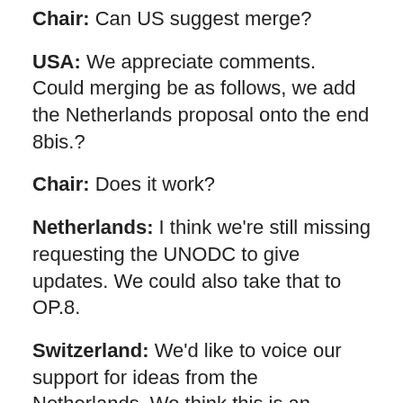Chair: Can US suggest merge?
USA: We appreciate comments. Could merging be as follows, we add the Netherlands proposal onto the end 8bis.?
Chair: Does it work?
Netherlands: I think we're still missing requesting the UNODC to give updates. We could also take that to OP.8.
Switzerland: We'd like to voice our support for ideas from the Netherlands. We think this is an elegant solution.
USA: Thank you chair. We propose that report form UNODC be broader than just collaborative work with WHO. We propose